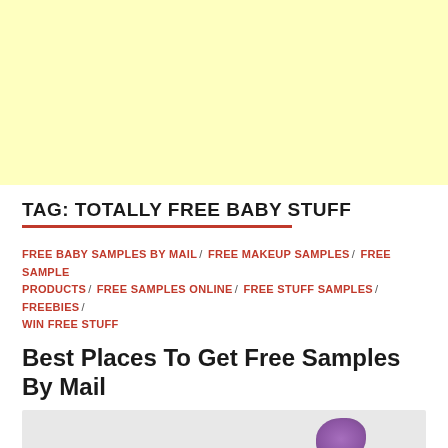[Figure (other): Light yellow advertisement banner area]
TAG: TOTALLY FREE BABY STUFF
FREE BABY SAMPLES BY MAIL / FREE MAKEUP SAMPLES / FREE SAMPLE PRODUCTS / FREE SAMPLES ONLINE / FREE STUFF SAMPLES / FREEBIES / WIN FREE STUFF
Best Places To Get Free Samples By Mail
[Figure (photo): Partial article image strip with purple object visible on right side]